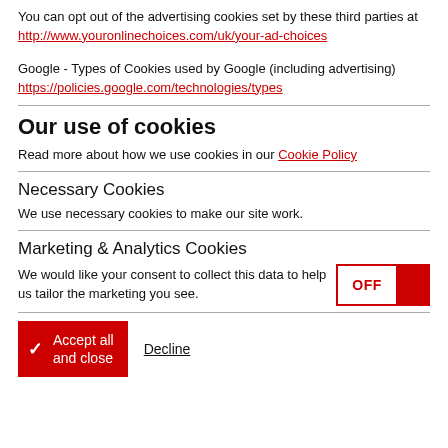You can opt out of the advertising cookies set by these third parties at http://www.youronlinechoices.com/uk/your-ad-choices
Google - Types of Cookies used by Google (including advertising) https://policies.google.com/technologies/types
Our use of cookies
Read more about how we use cookies in our Cookie Policy
Necessary Cookies
We use necessary cookies to make our site work.
Marketing & Analytics Cookies
We would like your consent to collect this data to help us tailor the marketing you see. [OFF toggle]
Accept all and close | Decline